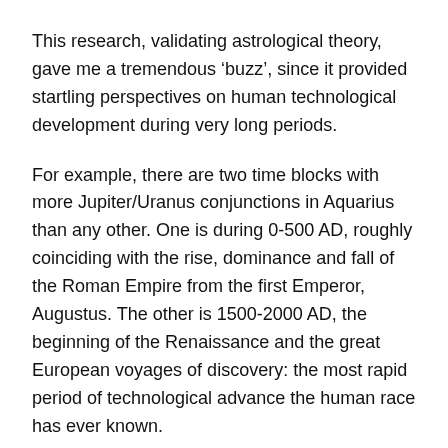This research, validating astrological theory, gave me a tremendous ‘buzz’, since it provided startling perspectives on human technological development during very long periods.
For example, there are two time blocks with more Jupiter/Uranus conjunctions in Aquarius than any other. One is during 0-500 AD, roughly coinciding with the rise, dominance and fall of the Roman Empire from the first Emperor, Augustus. The other is 1500-2000 AD, the beginning of the Renaissance and the great European voyages of discovery: the most rapid period of technological advance the human race has ever known.
Thank you, Neil F.Michelsen!